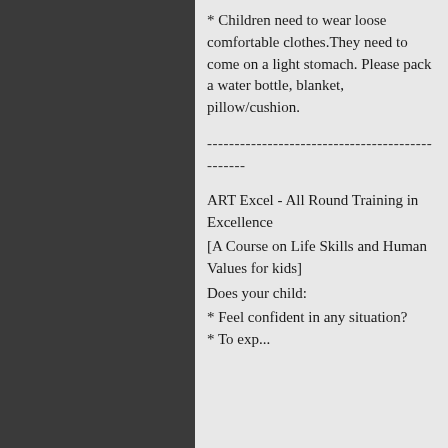* Children need to wear loose comfortable clothes.They need to come on a light stomach. Please pack a water bottle, blanket, pillow/cushion.
------------------------------------------------
ART Excel - All Round Training in Excellence
[A Course on Life Skills and Human Values for kids]
Does your child:
* Feel confident in any situation?
* ...